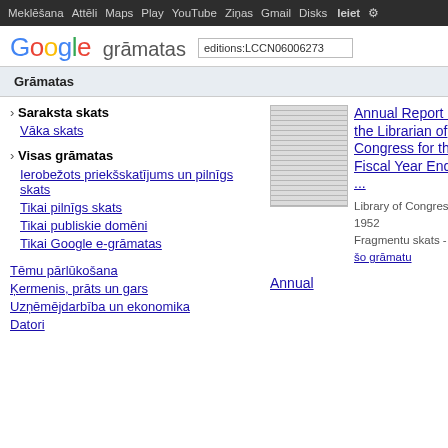Meklēšana Attēli Maps Play YouTube Ziņas Gmail Disks Ieiet Iestatījumi
Google grāmatas
Grāmatas
› Saraksta skats
Vāka skats
› Visas grāmatas
Ierobežots priekšskatījums un pilnīgs skats
Tikai pilnīgs skats
Tikai publiskie domēni
Tikai Google e-grāmatas
Tēmu pārlūkošana
Ķermenis, prāts un gars
Uzņēmējdarbība un ekonomika
Datori
[Figure (other): Thumbnail image of book pages]
Annual Report of the Librarian of Congress for the Fiscal Year Ended ...
Library of Congress - 1952
Fragmentu skats - Par šo grāmatu
Annual